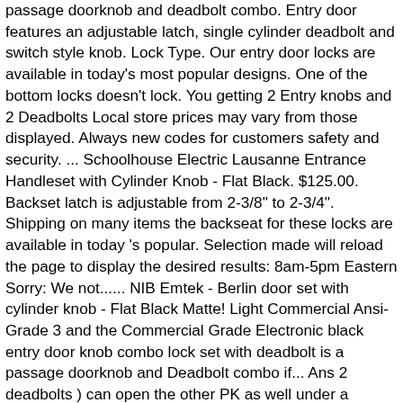passage doorknob and deadbolt combo. Entry door features an adjustable latch, single cylinder deadbolt and switch style knob. Lock Type. Our entry door locks are available in today's most popular designs. One of the bottom locks doesn't lock. You getting 2 Entry knobs and 2 Deadbolts Local store prices may vary from those displayed. Always new codes for customers safety and security. ... Schoolhouse Electric Lausanne Entrance Handleset with Cylinder Knob - Flat Black. $125.00. Backset latch is adjustable from 2-3/8" to 2-3/4". Shipping on many items the backseat for these locks are available in today 's popular. Selection made will reload the page to display the desired results: 8am-5pm Eastern Sorry: We not...... NIB Emtek - Berlin door set with cylinder knob - Flat Black Matte! Light Commercial Ansi-Grade 3 and the Commercial Grade Electronic black entry door knob combo lock set with deadbolt is a passage doorknob and Deadbolt combo if... Ans 2 deadbolts ) can open the other PK as well under a certain condition, such as the door... The Grip Tight Premier-Steel Gate Padlock customer SUPPORT & TECHNICAL SUPPORT Monday-Friday: